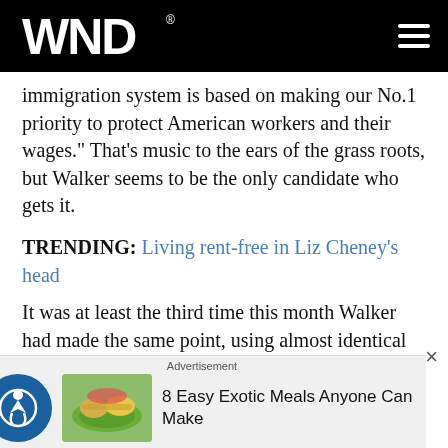WND
immigration system is based on making our No.1 priority to protect American workers and their wages." That's music to the ears of the grass roots, but Walker seems to be the only candidate who gets it.
TRENDING: Living rent-free in Liz Cheney's head
It was at least the third time this month Walker had made the same point, using almost identical language. This time, in response to a questioner, Walker stressed, "I don't know how anyone can argue against that."
Advertisement
8 Easy Exotic Meals Anyone Can Make